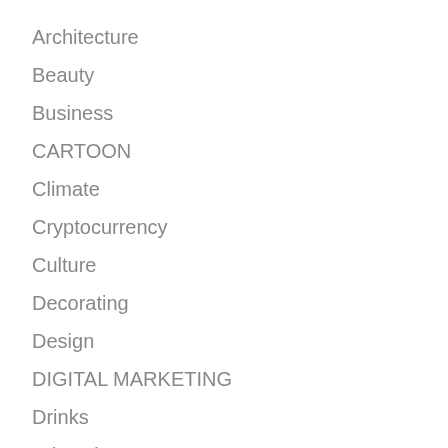Architecture
Beauty
Business
CARTOON
Climate
Cryptocurrency
Culture
Decorating
Design
DIGITAL MARKETING
Drinks
Education
Entertainment
Environment